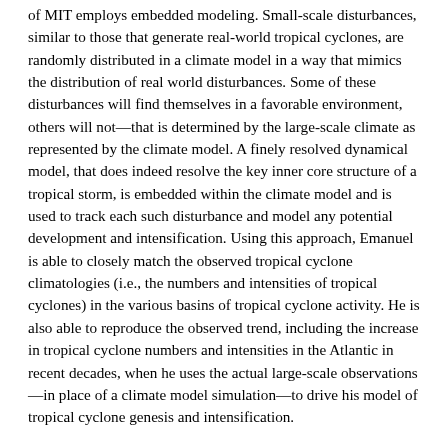of MIT employs embedded modeling. Small-scale disturbances, similar to those that generate real-world tropical cyclones, are randomly distributed in a climate model in a way that mimics the distribution of real world disturbances. Some of these disturbances will find themselves in a favorable environment, others will not—that is determined by the large-scale climate as represented by the climate model. A finely resolved dynamical model, that does indeed resolve the key inner core structure of a tropical storm, is embedded within the climate model and is used to track each such disturbance and model any potential development and intensification. Using this approach, Emanuel is able to closely match the observed tropical cyclone climatologies (i.e., the numbers and intensities of tropical cyclones) in the various basins of tropical cyclone activity. He is also able to reproduce the observed trend, including the increase in tropical cyclone numbers and intensities in the Atlantic in recent decades, when he uses the actual large-scale observations—in place of a climate model simulation—to drive his model of tropical cyclone genesis and intensification.
So, what results does this approach yield when driven with projections of future climate change? The results of the analysis are shown below. What we see, first of all, is that there is quite a